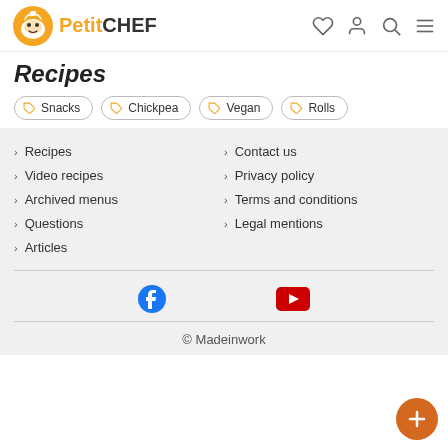PetitCHEF
Recipes
Snacks
Chickpea
Vegan
Rolls
Recipes
Video recipes
Archived menus
Questions
Articles
Contact us
Privacy policy
Terms and conditions
Legal mentions
© Madeinwork